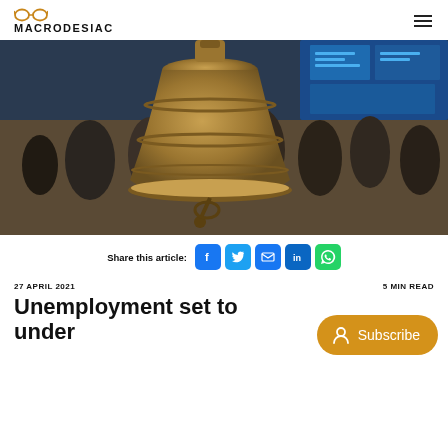MACRODESIAC
[Figure (photo): A bronze trading bell in the foreground with a crowd of businesspeople on a trading floor in the background, with blue digital screens visible.]
Share this article:
27 APRIL 2021
5 MIN READ
Unemployment set to under